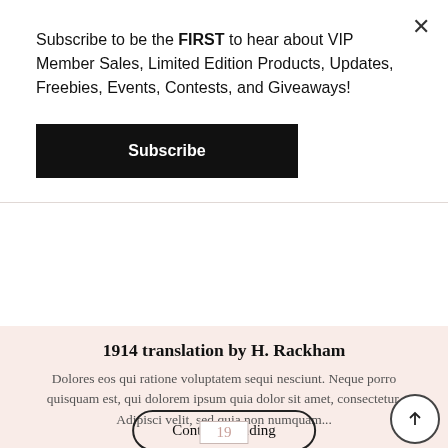Subscribe to be the FIRST to hear about VIP Member Sales, Limited Edition Products, Updates, Freebies, Events, Contests, and Giveaways!
Subscribe
1914 translation by H. Rackham
Dolores eos qui ratione voluptatem sequi nesciunt. Neque porro quisquam est, qui dolorem ipsum quia dolor sit amet, consectetur. Adipisci velit, sed quia non numquam...
Continue reading
19